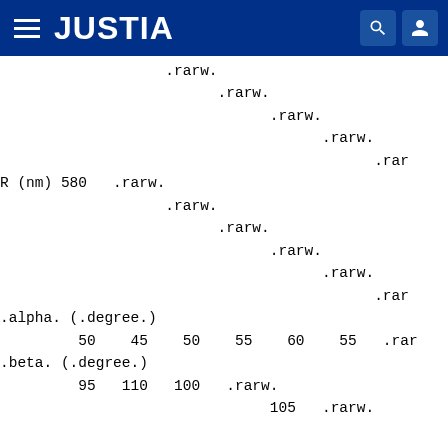JUSTIA
.rarw.
                    .rarw.
                          .rarw.
                                .rarw.
                                      .rar
R (nm) 580   .rarw.
                    .rarw.
                          .rarw.
                                .rarw.
                                      .rarw.
                                            .rar
.alpha. (.degree.)
         50    45    50    55    60    55   .rar
.beta. (.degree.)
         95   110   100   .rarw.
                                105   .rarw.